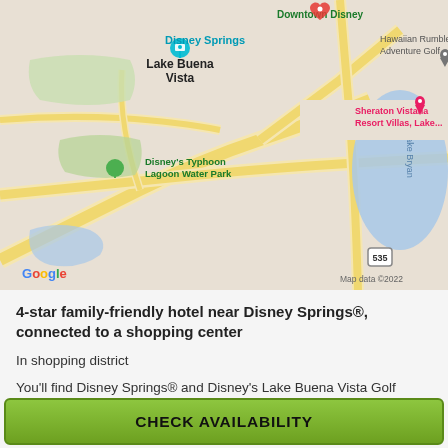[Figure (map): Google Maps screenshot showing Disney Springs area in Lake Buena Vista, Florida. Shows Disney's Typhoon Lagoon Water Park, Downtown Disney, Sheraton Vistana Resort Villas, Hawaiian Rumble Adventure Golf, Lake Bryan, and Route 535. Map data ©2022.]
4-star family-friendly hotel near Disney Springs®, connected to a shopping center
In shopping district
You'll find Disney Springs® and Disney's Lake Buena Vista Golf Course within 2 miles (3 km) of this hotel. Disney's Typhoon Lagoon Water Park and Orlando Vineland Premium Outlets are also within 3 miles (5 km).
Poolside dining
This smoke-free hotel features 2 outdoor pools, a spa tub, and a restaurant. There's fun for all ages with a children's pool and an arcade/game room, and families will appreciate the onsite laundry facilities. Traveling on business? Take advantage of the 57 conference
CHECK AVAILABILITY